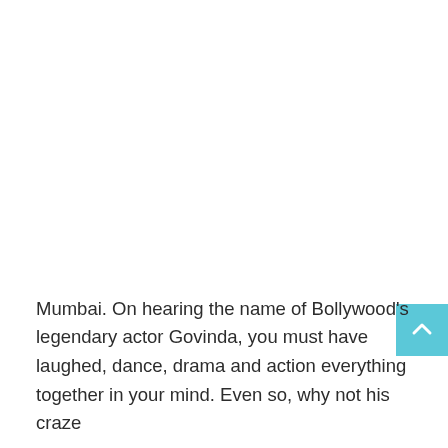Mumbai. On hearing the name of Bollywood's legendary actor Govinda, you must have laughed, dance, drama and action everything together in your mind. Even so, why not his craze